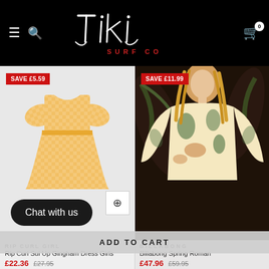Tiki Surf Co — navigation header
[Figure (photo): Rip Curl girls gingham check short dress in orange/yellow, children's fashion product photo on white/grey background]
SAVE £5.59
[Figure (photo): Female model wearing Billabong Spring Roman floral tropical print dress with long sleeves, dark background]
SAVE £11.99
RIP CURL GIRL
Rip Curl Sui Up Gingham Dress Girls
£22.36 £27.95
BILLABONG
Billabong Spring Roman
£47.96 £59.95
Chat with us
ADD TO CART